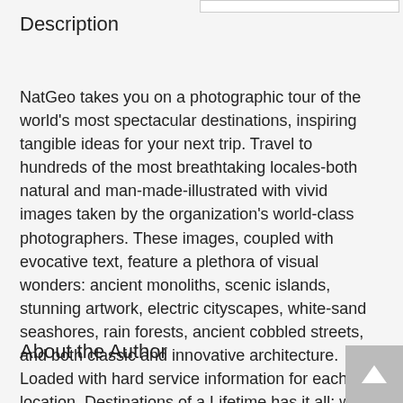Description
NatGeo takes you on a photographic tour of the world's most spectacular destinations, inspiring tangible ideas for your next trip. Travel to hundreds of the most breathtaking locales-both natural and man-made-illustrated with vivid images taken by the organization's world-class photographers. These images, coupled with evocative text, feature a plethora of visual wonders: ancient monoliths, scenic islands, stunning artwork, electric cityscapes, white-sand seashores, rain forests, ancient cobbled streets, and both classic and innovative architecture. Loaded with hard service information for each location, Destinations of a Lifetime has it all: when to go, where to eat, where to stay, and what to do to ensure the most enriching and authentic experience.
About the Author